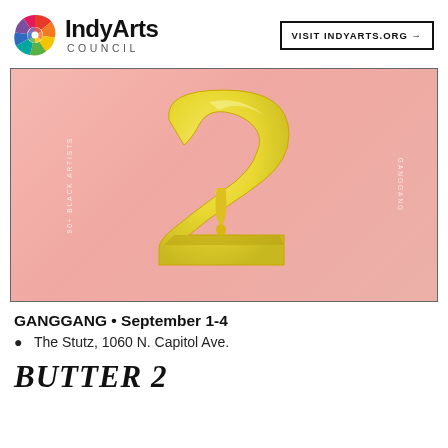IndyArts Council | VISIT INDYARTS.ORG →
[Figure (photo): Yellow sculptural number 2 with dripping paint/butter texture, on a pink background. Vertical text on left reads '90+ BLACK ARTISTS', vertical text on right reads 'GANGGANG'.]
GANGGANG • September 1-4
📍 The Stutz, 1060 N. Capitol Ave.
BUTTER 2